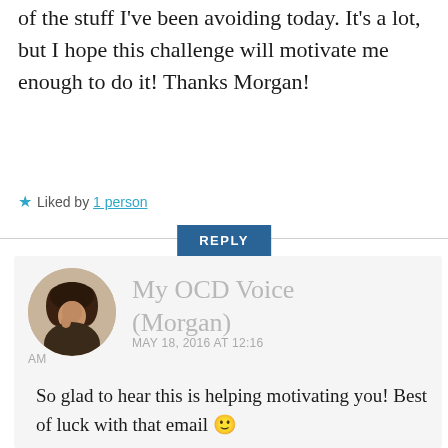of the stuff I've been avoiding today. It's a lot, but I hope this challenge will motivate me enough to do it! Thanks Morgan!
★ Liked by 1 person
REPLY
[Figure (photo): Circular avatar photo of a person with curly dark hair against a light background]
My OCD Voice (Morgan)
MAY 18, 2016 AT 12:16 AM
So glad to hear this is helping motivating you! Best of luck with that email 🙂